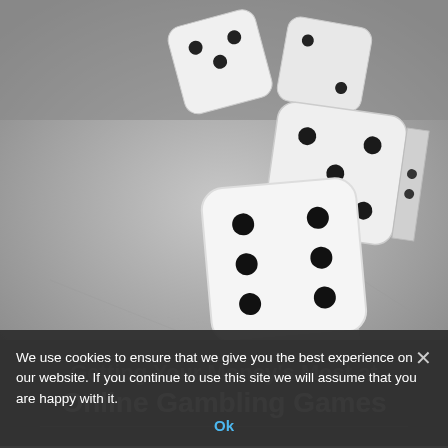[Figure (photo): Black and white photograph of three white dice on a textured grey surface. One die in the foreground shows six dots on top, two dice are in the background at an angle.]
Getting Your Money's Most at Online Gambling Games
We use cookies to ensure that we give you the best experience on our website. If you continue to use this site we will assume that you are happy with it.
Ok